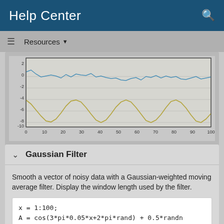Help Center
Resources ▼
[Figure (continuous-plot): Line chart showing two data series over x-axis range 0–100. Y-axis ranges approximately from -10 to 2. Upper blue noisy line oscillates near 0–1 range. Lower olive/gold smooth sinusoidal line oscillates between approximately -8 and -4.]
Gaussian Filter
Smooth a vector of noisy data with a Gaussian-weighted moving average filter. Display the window length used by the filter.